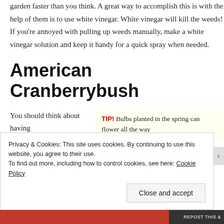garden faster than you think. A great way to accomplish this is with the help of them is to use white vinegar. White vinegar will kill the weeds! If you're annoyed with pulling up weeds manually, make a white vinegar solution and keep it handy for a quick spray when needed.
American Cranberrybush
You should think about having
TIP! Bulbs planted in the spring can flower all the way
Privacy & Cookies: This site uses cookies. By continuing to use this website, you agree to their use. To find out more, including how to control cookies, see here: Cookie Policy
Close and accept